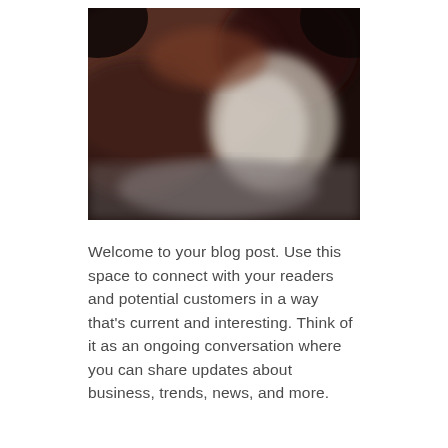[Figure (photo): A blurry, dark photograph showing indistinct shapes with dark reddish-brown tones and a lighter area in the center-right.]
Welcome to your blog post. Use this space to connect with your readers and potential customers in a way that's current and interesting. Think of it as an ongoing conversation where you can share updates about business, trends, news, and more.